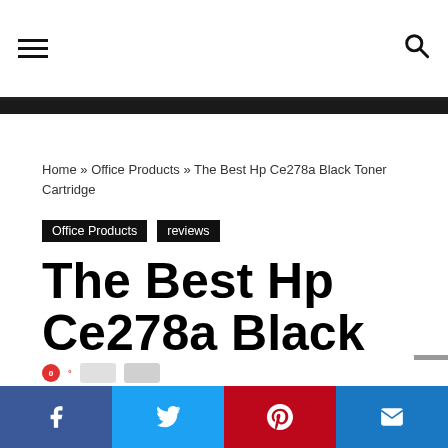Home » Office Products » The Best Hp Ce278a Black Toner Cartridge
Office Products   reviews
The Best Hp Ce278a Black Toner Cartridge
homeskilletfest  •  September 2, 2020
Facebook  Twitter  Pinterest  Email